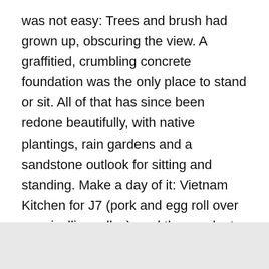was not easy: Trees and brush had grown up, obscuring the view. A graffitied, crumbling concrete foundation was the only place to stand or sit. All of that has since been redone beautifully, with native plantings, rain gardens and a sandstone outlook for sitting and standing. Make a day of it: Vietnam Kitchen for J7 (pork and egg roll over vermicelli noodles), and then park at the entrance to Iroquois and walk to the overlook via the road or on a trail. The view will keep you coming back. —Keith Stone
Published under Feature